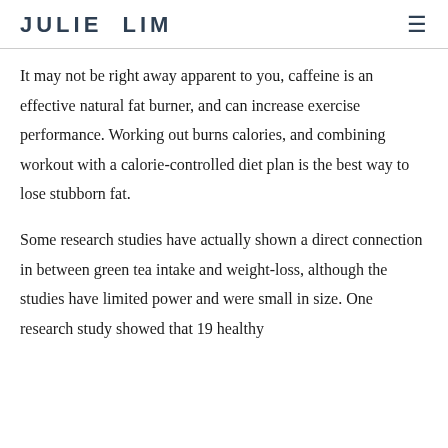JULIE LIM
It may not be right away apparent to you, caffeine is an effective natural fat burner, and can increase exercise performance. Working out burns calories, and combining workout with a calorie-controlled diet plan is the best way to lose stubborn fat.
Some research studies have actually shown a direct connection in between green tea intake and weight-loss, although the studies have limited power and were small in size. One research study showed that 19 healthy